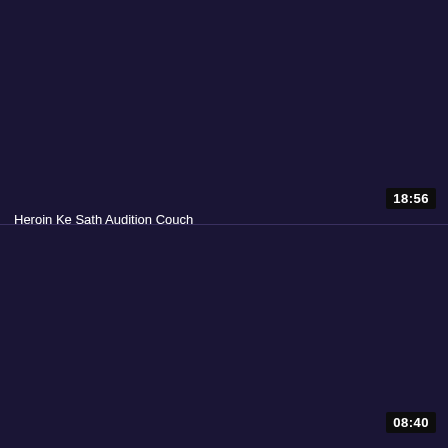[Figure (screenshot): Dark purple/navy video thumbnail panel (top), approximately half the page height, with a timestamp badge '18:56' in the bottom-right corner.]
Heroin Ke Sath Audition Couch
[Figure (screenshot): Dark purple/navy video thumbnail panel (bottom), approximately half the page height, with a timestamp badge '08:40' in the bottom-right corner.]